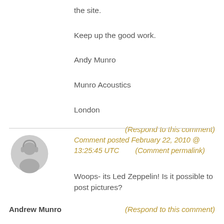the site.
Keep up the good work.
Andy Munro
Munro Acoustics
London
(Respond to this comment)
Comment posted February 22, 2010 @ 13:25:45 UTC        (Comment permalink)
[Figure (illustration): Generic user avatar with headphones icon, gray circle with person silhouette]
Woops- its Led Zeppelin! Is it possible to post pictures?
Andrew Munro
(Respond to this comment)